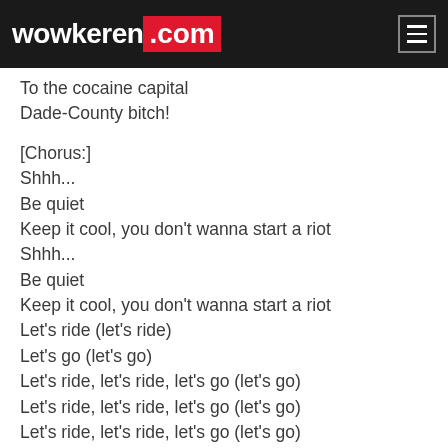wowkeren.com
To the cocaine capital
Dade-County bitch!

[Chorus:]
Shhh...
Be quiet
Keep it cool, you don't wanna start a riot
Shhh...
Be quiet
Keep it cool, you don't wanna start a riot
Let's ride (let's ride)
Let's go (let's go)
Let's ride, let's ride, let's go (let's go)
Let's ride, let's ride, let's go (let's go)
Let's ride, let's ride, let's go (let's go)
Let the beat ride (hey, hey)
Now let the beat ride (hey, hey)